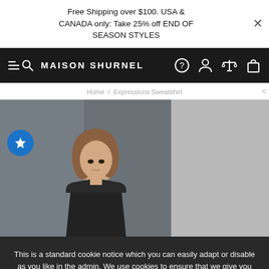Free Shipping over $100. USA & CANADA only: Take 25% off END OF SEASON STYLES
MAISON SHURNEL
Home / Expressions Sweatshirt
[Figure (photo): Fashion model wearing dark sweatshirt against dark grey background, with a grey panel to the right]
This is a standard cookie notice which you can easily adapt or disable as you like in the admin. We use cookies to ensure that we give you the best experience on our website.
PRIVACY POLICY   ACCEPT ✓